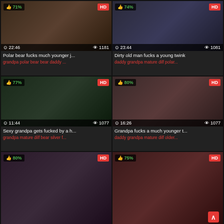[Figure (screenshot): Video thumbnail grid showing 6 video cards in a 2x3 layout with thumbnails, titles, tags, like percentages, HD badges, duration and view counts]
Polar bear fucks much younger j...
grandpa polar bear bear daddy ...
Dirty old man fucks a young twink
daddy grandpa mature dilf polar...
Sexy grandpa gets fucked by a h...
grandpa mature dilf bear silver f...
Grandpa fucks a much younger t...
daddy grandpa mature dilf older...